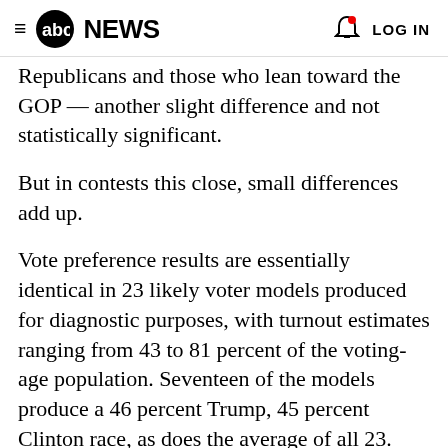abc NEWS  LOG IN
Republicans and those who lean toward the GOP — another slight difference and not statistically significant.
But in contests this close, small differences add up.
Vote preference results are essentially identical in 23 likely voter models produced for diagnostic purposes, with turnout estimates ranging from 43 to 81 percent of the voting-age population. Seventeen of the models produce a 46 percent Trump, 45 percent Clinton race, as does the average of all 23.